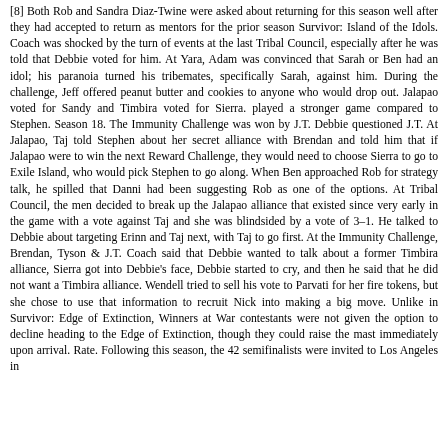[8] Both Rob and Sandra Diaz-Twine were asked about returning for this season well after they had accepted to return as mentors for the prior season Survivor: Island of the Idols. Coach was shocked by the turn of events at the last Tribal Council, especially after he was told that Debbie voted for him. At Yara, Adam was convinced that Sarah or Ben had an idol; his paranoia turned his tribemates, specifically Sarah, against him. During the challenge, Jeff offered peanut butter and cookies to anyone who would drop out. Jalapao voted for Sandy and Timbira voted for Sierra. played a stronger game compared to Stephen. Season 18. The Immunity Challenge was won by J.T. Debbie questioned J.T. At Jalapao, Taj told Stephen about her secret alliance with Brendan and told him that if Jalapao were to win the next Reward Challenge, they would need to choose Sierra to go to Exile Island, who would pick Stephen to go along. When Ben approached Rob for strategy talk, he spilled that Danni had been suggesting Rob as one of the options. At Tribal Council, the men decided to break up the Jalapao alliance that existed since very early in the game with a vote against Taj and she was blindsided by a vote of 3–1. He talked to Debbie about targeting Erinn and Taj next, with Taj to go first. At the Immunity Challenge, Brendan, Tyson & J.T. Coach said that Debbie wanted to talk about a former Timbira alliance, Sierra got into Debbie's face, Debbie started to cry, and then he said that he did not want a Timbira alliance. Wendell tried to sell his vote to Parvati for her fire tokens, but she chose to use that information to recruit Nick into making a big move. Unlike in Survivor: Edge of Extinction, Winners at War contestants were not given the option to decline heading to the Edge of Extinction, though they could raise the mast immediately upon arrival. Rate. Following this season, the 42 semifinalists were invited to Los Angeles in